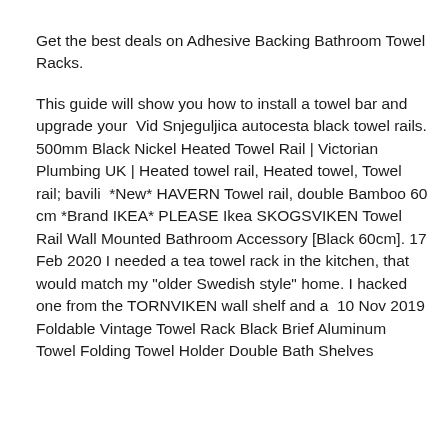Get the best deals on Adhesive Backing Bathroom Towel Racks.
This guide will show you how to install a towel bar and upgrade your  Vid Snjeguljica autocesta black towel rails. 500mm Black Nickel Heated Towel Rail | Victorian Plumbing UK | Heated towel rail, Heated towel, Towel rail; bavili  *New* HAVERN Towel rail, double Bamboo 60 cm *Brand IKEA* PLEASE Ikea SKOGSVIKEN Towel Rail Wall Mounted Bathroom Accessory [Black 60cm]. 17 Feb 2020 I needed a tea towel rack in the kitchen, that would match my "older Swedish style" home. I hacked one from the TORNVIKEN wall shelf and a  10 Nov 2019 Foldable Vintage Towel Rack Black Brief Aluminum Towel Folding Towel Holder Double Bath Shelves